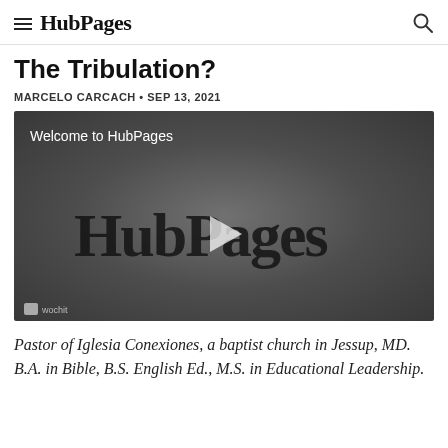HubPages
The Tribulation?
MARCELO CARCACH • SEP 13, 2021
[Figure (screenshot): HubPages welcome video thumbnail showing the HubPages logo with a play button on a gray gradient background, with 'Welcome to HubPages' text in the upper left and a wochit badge in the lower left.]
Pastor of Iglesia Conexiones, a baptist church in Jessup, MD. B.A. in Bible, B.S. English Ed., M.S. in Educational Leadership.